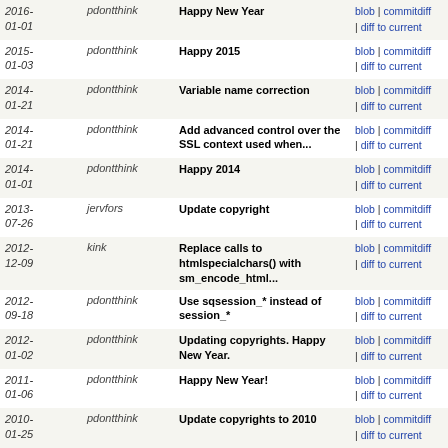| Date | Author | Message | Links |
| --- | --- | --- | --- |
| 2016-01-01 | pdontthink | Happy New Year | blob | commitdiff | diff to current |
| 2015-01-03 | pdontthink | Happy 2015 | blob | commitdiff | diff to current |
| 2014-01-21 | pdontthink | Variable name correction | blob | commitdiff | diff to current |
| 2014-01-21 | pdontthink | Add advanced control over the SSL context used when... | blob | commitdiff | diff to current |
| 2014-01-01 | pdontthink | Happy 2014 | blob | commitdiff | diff to current |
| 2013-07-26 | jervfors | Update copyright | blob | commitdiff | diff to current |
| 2012-12-09 | kink | Replace calls to htmlspecialchars() with sm_encode_html... | blob | commitdiff | diff to current |
| 2012-09-18 | pdontthink | Use sqsession_* instead of session_* | blob | commitdiff | diff to current |
| 2012-01-02 | pdontthink | Updating copyrights. Happy New Year. | blob | commitdiff | diff to current |
| 2011-01-06 | pdontthink | Happy New Year! | blob | commitdiff | diff to current |
| 2010-01-25 | pdontthink | Update copyrights to 2010 | blob | commitdiff | diff to current |
| 2009-09-29 | jervfors | The copyright symbol isn't really needed since the... | blob | commitdiff | diff to current |
| 2009-04-15 | jervfors | Removing the PHP close tag at the last line. | blob | commitdiff | diff to current |